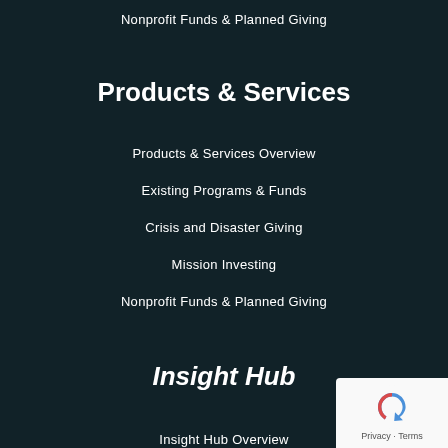Nonprofit Funds & Planned Giving
Products & Services
Products & Services Overview
Existing Programs & Funds
Crisis and Disaster Giving
Mission Investing
Nonprofit Funds & Planned Giving
Insight Hub
Insight Hub Overview